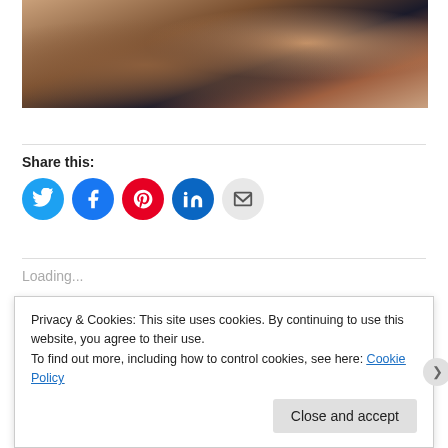[Figure (photo): Person wearing a watch holding a tablet/phone device, warm brown tones]
Share this:
[Figure (infographic): Social sharing icons: Twitter (blue), Facebook (blue), Pinterest (red), LinkedIn (dark blue), Email (gray)]
Loading...
Privacy & Cookies: This site uses cookies. By continuing to use this website, you agree to their use.
To find out more, including how to control cookies, see here: Cookie Policy
Close and accept